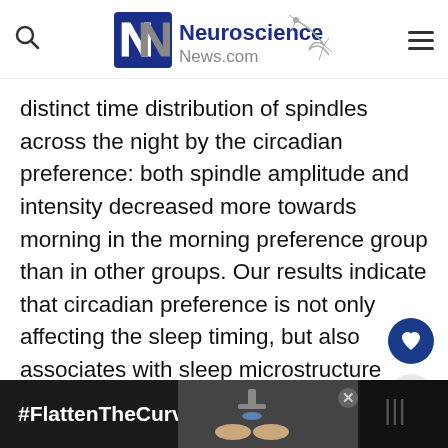Neuroscience News.com
distinct time distribution of spindles across the night by the circadian preference: both spindle amplitude and intensity decreased more towards morning in the morning preference group than in other groups. Our results indicate that circadian preference is not only affecting the sleep timing, but also associates with sleep microstructure regarding sleep spindle phenotypes.
[Figure (screenshot): Advertisement banner with #FlattenTheCurve text and hand washing image on dark background]